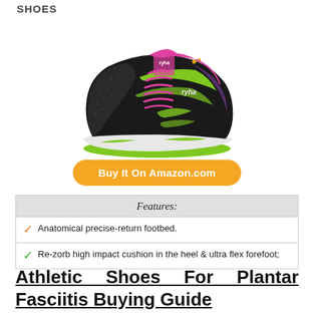SHOES
[Figure (photo): Black athletic training shoe with pink laces and green accents, brand Ryka, shown from the side on a white background.]
Buy It On Amazon.com
| Features: |
| --- |
| Anatomical precise-return footbed. |
| Re-zorb high impact cushion in the heel & ultra flex forefoot; |
Athletic Shoes For Plantar Fasciitis Buying Guide